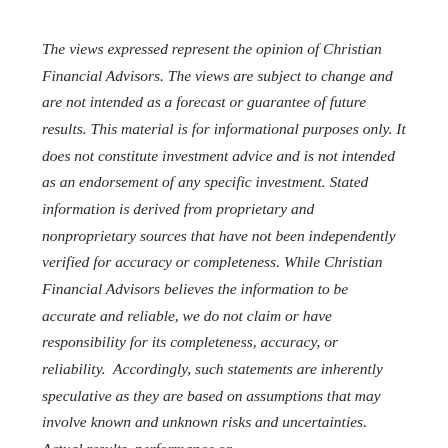The views expressed represent the opinion of Christian Financial Advisors. The views are subject to change and are not intended as a forecast or guarantee of future results. This material is for informational purposes only. It does not constitute investment advice and is not intended as an endorsement of any specific investment. Stated information is derived from proprietary and nonproprietary sources that have not been independently verified for accuracy or completeness. While Christian Financial Advisors believes the information to be accurate and reliable, we do not claim or have responsibility for its completeness, accuracy, or reliability. Accordingly, such statements are inherently speculative as they are based on assumptions that may involve known and unknown risks and uncertainties. Actual results, performance or